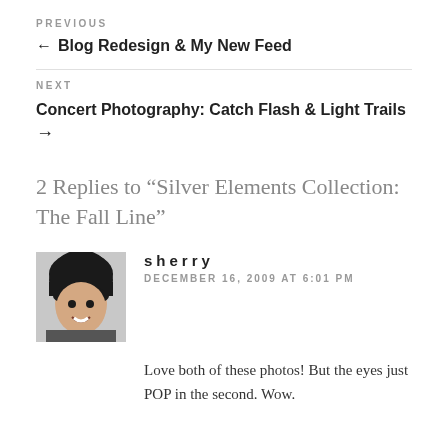PREVIOUS
← Blog Redesign & My New Feed
NEXT
Concert Photography: Catch Flash & Light Trails →
2 Replies to “Silver Elements Collection: The Fall Line”
sherry
DECEMBER 16, 2009 AT 6:01 PM
Love both of these photos! But the eyes just POP in the second. Wow.